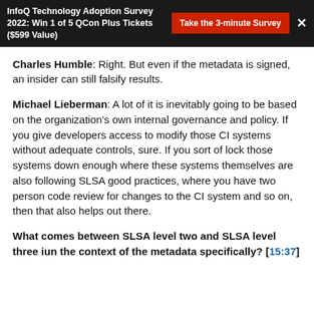InfoQ Technology Adoption Survey 2022: Win 1 of 5 QCon Plus Tickets ($599 Value)   Take the 3-minute Survey   ×
Charles Humble: Right. But even if the metadata is signed, an insider can still falsify results.
Michael Lieberman: A lot of it is inevitably going to be based on the organization's own internal governance and policy. If you give developers access to modify those CI systems without adequate controls, sure. If you sort of lock those systems down enough where these systems themselves are also following SLSA good practices, where you have two person code review for changes to the CI system and so on, then that also helps out there.
What comes between SLSA level two and SLSA level three iun the context of the metadata specifically? [15:37]